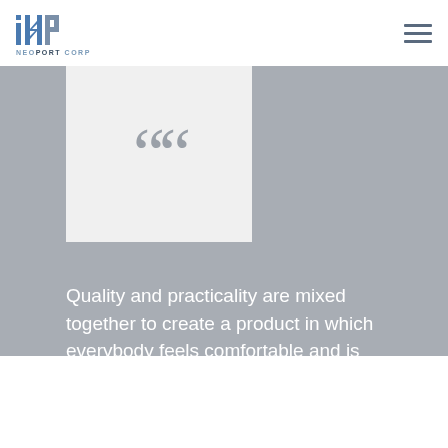[Figure (logo): NeoPort Corp logo with stylized NP letters and company name]
[Figure (other): Hamburger menu icon (three horizontal lines)]
[Figure (illustration): White card panel with large decorative quotation mark symbols in gray on a light gray background]
Quality and practicality are mixed together to create a product in which everybody feels comfortable and is understood.